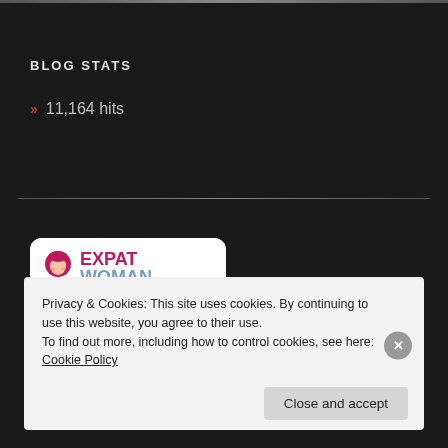BLOG STATS
» 11,164 hits
[Figure (logo): ExpatWoman.com badge reading 'I AM AN EXPATWOMAN' with pink logo icon on white/grey-blue background]
Privacy & Cookies: This site uses cookies. By continuing to use this website, you agree to their use.
To find out more, including how to control cookies, see here: Cookie Policy
Close and accept